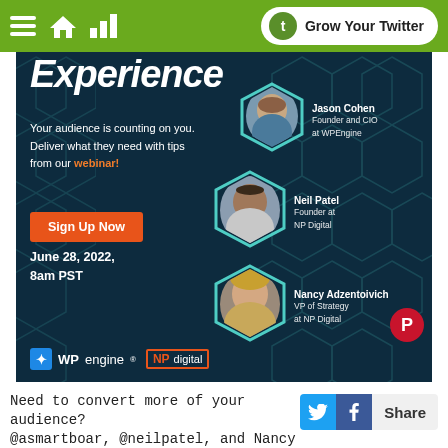Grow Your Twitter
[Figure (infographic): Webinar promotional banner for WPEngine and NP Digital. Title: 'Experience'. Tagline: 'Your audience is counting on you. Deliver what they need with tips from our webinar!'. Speakers: Jason Cohen (Founder and CIO at WPEngine), Neil Patel (Founder at NP Digital), Nancy Adzentoivich (VP of Strategy at NP Digital). Sign Up Now button. Date: June 28, 2022, 8am PST. Logos: WPengine and NP digital.]
Need to convert more of your audience? @asmartboar, @neilpatel, and Nancy Ad…
Share